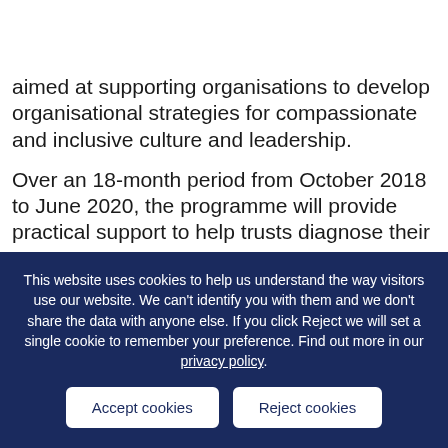UCLPartners
aimed at supporting organisations to develop organisational strategies for compassionate and inclusive culture and leadership.
Over an 18-month period from October 2018 to June 2020, the programme will provide practical support to help trusts diagnose their
This website uses cookies to help us understand the way visitors use our website. We can't identify you with them and we don't share the data with anyone else. If you click Reject we will set a single cookie to remember your preference. Find out more in our privacy policy.
Accept cookies | Reject cookies